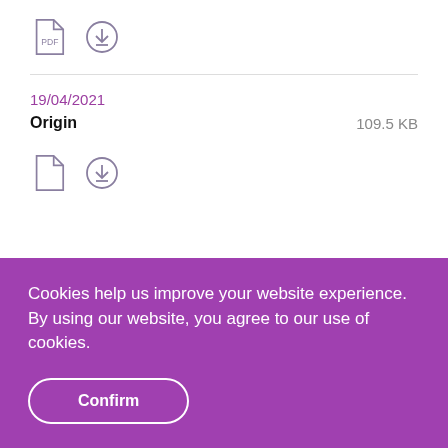[Figure (screenshot): PDF file icon (document with fold)]
[Figure (screenshot): Download circle icon]
19/04/2021
Origin    109.5 KB
[Figure (screenshot): Second PDF file icon (document with fold)]
[Figure (screenshot): Second download circle icon]
Cookies help us improve your website experience.
By using our website, you agree to our use of cookies.
Confirm